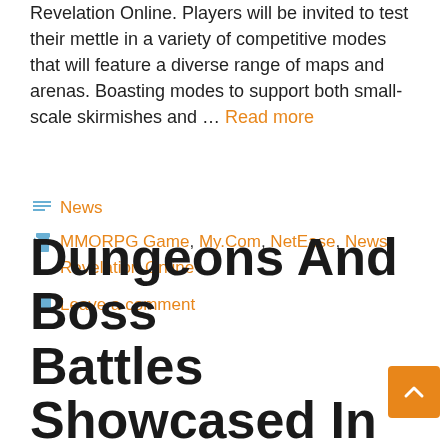Revelation Online. Players will be invited to test their mettle in a variety of competitive modes that will feature a diverse range of maps and arenas. Boasting modes to support both small-scale skirmishes and … Read more
Categories: News
Tags: MMORPG Game, My.Com, NetEase, News, Revelation Online
Leave a comment
Dungeons And Boss Battles Showcased In